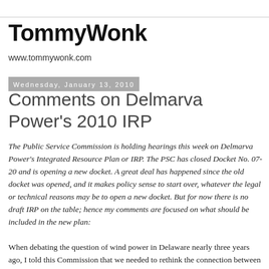TommyWonk
www.tommywonk.com
Wednesday, January 13, 2010
Comments on Delmarva Power's 2010 IRP
The Public Service Commission is holding hearings this week on Delmarva Power's Integrated Resource Plan or IRP. The PSC has closed Docket No. 07-20 and is opening a new docket. A great deal has happened since the old docket was opened, and it makes policy sense to start over, whatever the legal or technical reasons may be to open a new docket. But for now there is no draft IRP on the table; hence my comments are focused on what should be included in the new plan:
When debating the question of wind power in Delaware nearly three years ago, I told this Commission that we needed to rethink the connection between our energy supply and our emissions targets.